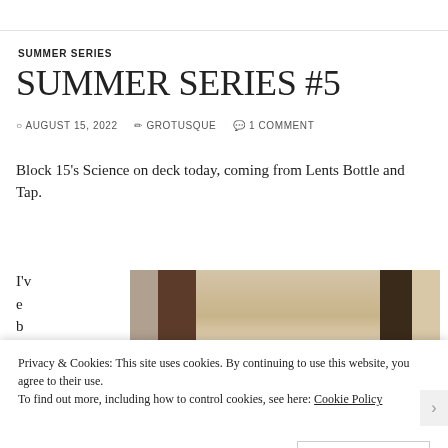SUMMER SERIES
SUMMER SERIES #5
© AUGUST 15, 2022   ✎ GROTUSQUE   💬 1 COMMENT
Block 15's Science on deck today, coming from Lents Bottle and Tap.
I'v
e
b
-
[Figure (photo): Photo of wooden surfaces/panels with varying brown tones]
Privacy & Cookies: This site uses cookies. By continuing to use this website, you agree to their use.
To find out more, including how to control cookies, see here: Cookie Policy
Close and accept